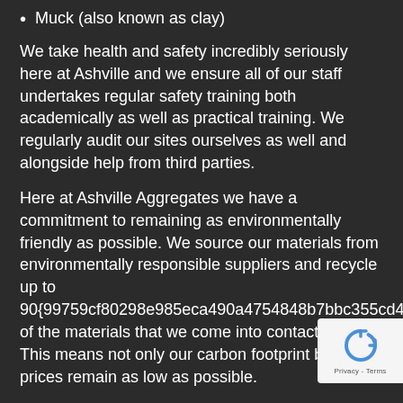Muck (also known as clay)
We take health and safety incredibly seriously here at Ashville and we ensure all of our staff undertakes regular safety training both academically as well as practical training. We regularly audit our sites ourselves as well and alongside help from third parties.
Here at Ashville Aggregates we have a commitment to remaining as environmentally friendly as possible. We source our materials from environmentally responsible suppliers and recycle up to 90{99759cf80298e985eca490a4754848b7bbc355cd41c4add of the materials that we come into contact with. This means not only our carbon footprint but our prices remain as low as possible.
As registered carriers of waste with the Environment Agency, we collect waste materials and dispose of in compliance with current regulation at fully licensed